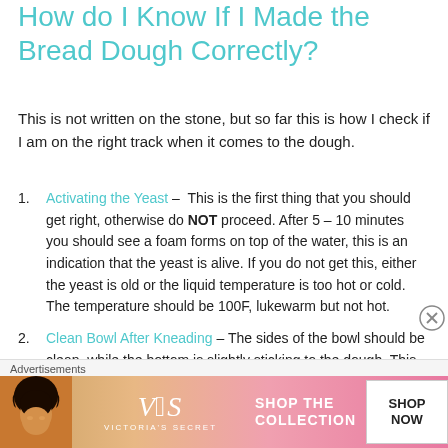How do I Know If I Made the Bread Dough Correctly?
This is not written on the stone, but so far this is how I check if I am on the right track when it comes to the dough.
Activating the Yeast – This is the first thing that you should get right, otherwise do NOT proceed. After 5 – 10 minutes you should see a foam forms on top of the water, this is an indication that the yeast is alive. If you do not get this, either the yeast is old or the liquid temperature is too hot or cold. The temperature should be 100F, lukewarm but not hot.
Clean Bowl After Kneading – The sides of the bowl should be clean, while the bottom is slightly sticking to the dough. This means that amount of liquid to the flour is correct. Enough to make a clean bowl and still make a slightly wet dough.
[Figure (photo): Advertisement banner for Victoria's Secret featuring a woman's face and 'Shop The Collection / Shop Now' text on a pink background]